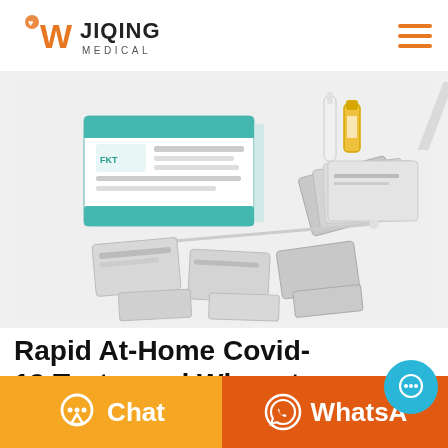[Figure (logo): Jiqing Medical logo with orange W and text JIQING MEDICAL]
[Figure (photo): Covid-19 rapid antigen test kit product photo showing box, test cassettes, swabs, and liquid vials spread out]
Rapid At-Home Covid-19 Tests–and Where to Find Th
[Figure (other): Blue circular chat bubble floating action button]
[Figure (other): Orange Chat button with speech bubble icon]
[Figure (other): Dark orange WhatsApp button with WhatsApp icon]